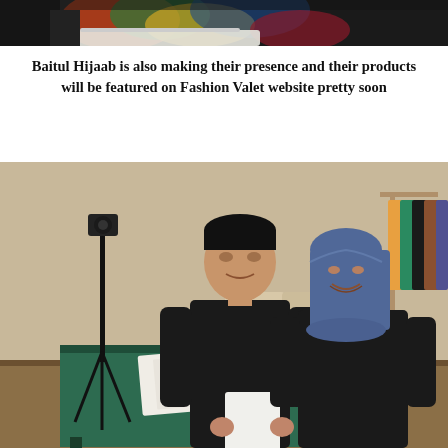[Figure (photo): Cropped top portion of a photo showing colorful fabric or clothing with dark background, partially visible at the top of the page.]
Baitul Hijaab is also making their presence and their products will be featured on Fashion Valet website pretty soon
[Figure (photo): A man in a black polo shirt and a woman wearing a dark blue hijab and black abaya are standing together and smiling. Behind them is a green-cloth covered table with papers, cushioned chairs, a camera tripod, and a clothing rack with colorful garments on the right.]